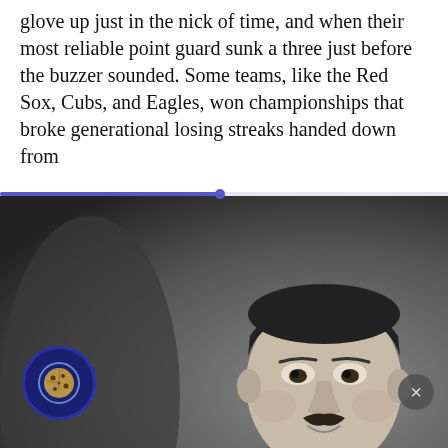glove up just in the nick of time, and when their most reliable point guard sunk a three just before the buzzer sounded. Some teams, like the Red Sox, Cubs, and Eagles, won championships that broke generational losing streaks handed down from
[Figure (photo): Black and white portrait photograph of a man with a small mustache, wearing a patterned jacket, shown from roughly the chest up, slightly smiling.]
1927 The first Oswald the Lucky Rabbit cartoon, Trolley Troubles, produced by Walt Disney, is released by Universal Pictures.
[Figure (photo): Black and white portrait photograph of the same man, a closer crop showing his face and shoulders, with a slight smile and mustache.]